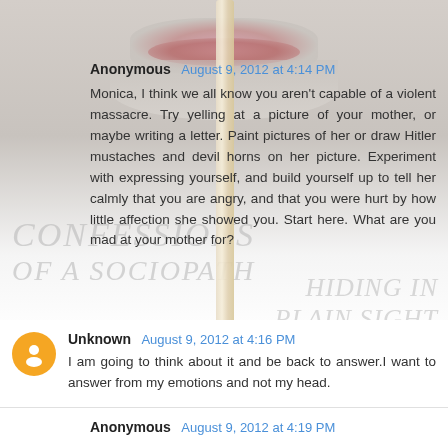[Figure (photo): Top portion of a face (lips/chin visible) with a popsicle stick, overlaid with watermark text reading 'CONFESSIONS OF A SOCIOPATH' and 'HIDING IN PLAIN SIGHT'. Background is a blog comment page screenshot.]
Anonymous  August 9, 2012 at 4:14 PM
Monica, I think we all know you aren't capable of a violent massacre. Try yelling at a picture of your mother, or maybe writing a letter. Paint pictures of her or draw Hitler mustaches and devil horns on her picture. Experiment with expressing yourself, and build yourself up to tell her calmly that you are angry, and that you were hurt by how little affection she showed you. Start here. What are you mad at your mother for?
Unknown  August 9, 2012 at 4:16 PM
I am going to think about it and be back to answer.I want to answer from my emotions and not my head.
Anonymous  August 9, 2012 at 4:19 PM